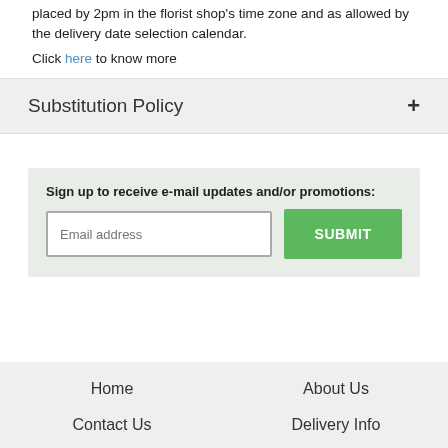placed by 2pm in the florist shop's time zone and as allowed by the delivery date selection calendar.
Click here to know more
Substitution Policy +
Sign up to receive e-mail updates and/or promotions:
Home | About Us | Contact Us | Delivery Info